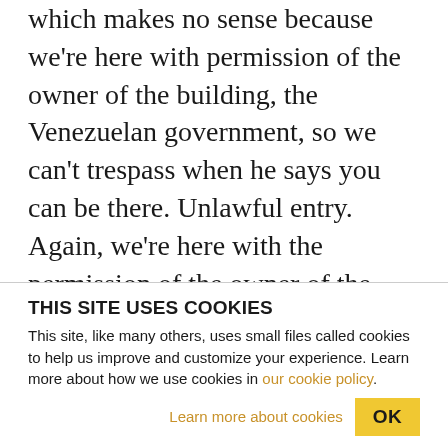which makes no sense because we're here with permission of the owner of the building, the Venezuelan government, so we can't trespass when he says you can be there. Unlawful entry. Again, we're here with the permission of the owner of the building, so we're not entering unlawfully. There's nothing we're doing illegal. And so I don't know what they're going to charge us with, but if they think that through, because if we get to court, the issue of charges will be who actually is the owner of the building who actually can make that decision?
THIS SITE USES COOKIES
This site, like many others, uses small files called cookies to help us improve and customize your experience. Learn more about how we use cookies in our cookie policy.
Learn more about cookies
OK